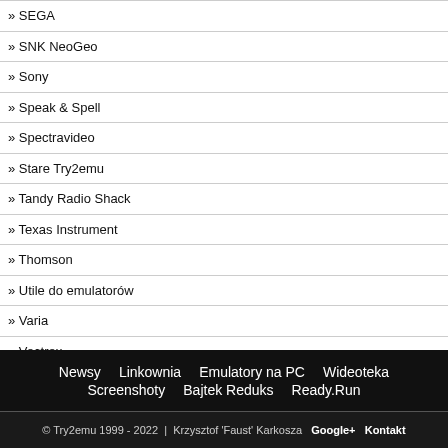» SEGA
» SNK NeoGeo
» Sony
» Speak & Spell
» Spectravideo
» Stare Try2emu
» Tandy Radio Shack
» Texas Instrument
» Thomson
» Utile do emulatorów
» Varia
» Vectrex
» XBOX
» ZX SPECTRUM i pokrewnych
Newsy  Linkownia  Emulatory na PC  Wideoteka  Screenshoty  Bajtek Reduks  Ready.Run  © Try2emu 1999 - 2022 | Krzysztof 'Faust' Karkosza  Google+  Kontakt